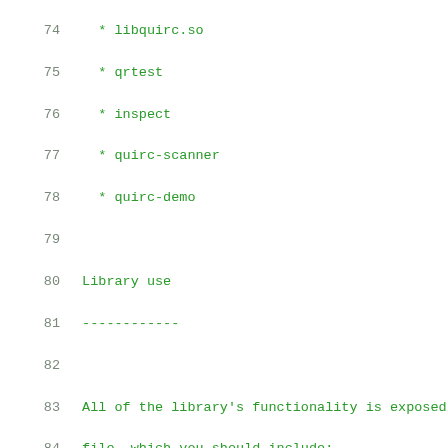74   * libquirc.so
75   * qrtest
76   * inspect
77   * quirc-scanner
78   * quirc-demo
79
80 Library use
81 ------------
82
83 All of the library's functionality is exposed th
84 file, which you should include:
85
86     #include <quirc.h>
87
88 To decode images, you'll need to instantiate a
89 object, which is done with the ``quirc_new`` fu
90 no longer need to decode anything, you should r
91 memory with ``quirc_destroy``:
92
93     struct quirc *qr;
94
95     qr = quirc_new();